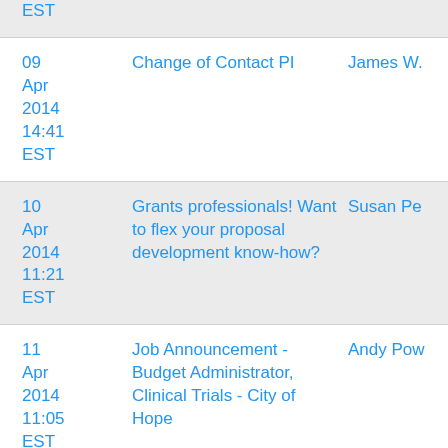| Date | Subject | Author |
| --- | --- | --- |
| EST |  |  |
| 09 Apr 2014 14:41 EST | Change of Contact PI | James W. |
| 10 Apr 2014 11:21 EST | Grants professionals! Want to flex your proposal development know-how? | Susan Pe |
| 11 Apr 2014 11:05 EST | Job Announcement - Budget Administrator, Clinical Trials - City of Hope | Andy Pow |